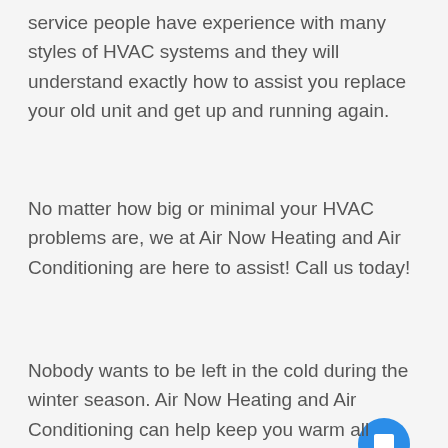service people have experience with many styles of HVAC systems and they will understand exactly how to assist you replace your old unit and get up and running again.
No matter how big or minimal your HVAC problems are, we at Air Now Heating and Air Conditioning are here to assist! Call us today!
[Figure (screenshot): Screenshot of a website UI showing a dark header area with text 'Heating & Furnace Repair Repl...' and a white chat popup with an avatar photo and text 'Hi there, have a question? Text us here.' with a close button and a blue chat bubble button in the bottom right.]
Nobody wants to be left in the cold during the winter season. Air Now Heating and Air Conditioning can help keep you warm all winter season long with routine scheduled HVAC